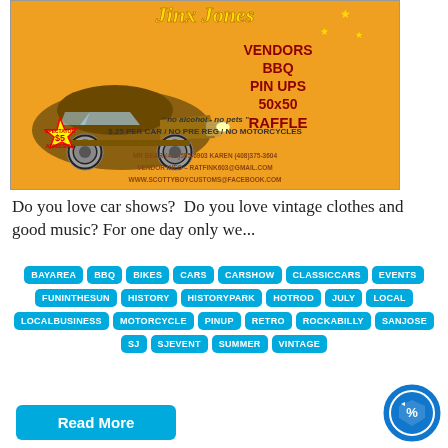[Figure (illustration): Event flyer for a car show featuring a classic hot rod car illustration, with text: Jinx Jones, VENDORS BBQ PIN UPS 50x50 RAFFLE, Spectator $5 Admission, no alcohol - no pets, $25 PER CAR / NO PRE REG / NO MOTORCYCLES, contact info and website]
Do you love car shows?  Do you love vintage clothes and good music? For one day only we...
BAYAREA
BBQ
BIKES
CARS
CARSHOW
CLASSICCARS
EVENTS
FUNINTHESUN
HISTORY
HISTORYPARK
HOTROD
JULY
LOCAL
LOCALBUSINESS
MOTORCYCLE
PINUP
RETRO
ROCKABILLY
SANJOSE
SJ
SJEVENT
SUMMER
VINTAGE